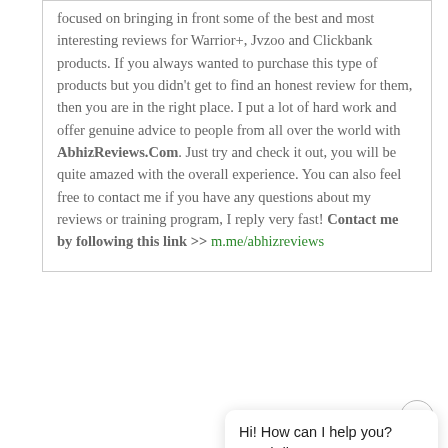focused on bringing in front some of the best and most interesting reviews for Warrior+, Jvzoo and Clickbank products. If you always wanted to purchase this type of products but you didn't get to find an honest review for them, then you are in the right place. I put a lot of hard work and offer genuine advice to people from all over the world with AbhizReviews.Com. Just try and check it out, you will be quite amazed with the overall experience. You can also feel free to contact me if you have any questions about my reviews or training program, I reply very fast! Contact me by following this link >> m.me/abhizreviews
Hi! How can I help you? Need discount coupon or Bonuses?
RELATED ARTI...
[Figure (screenshot): HostLegends product banner with dark blue background and logo text]